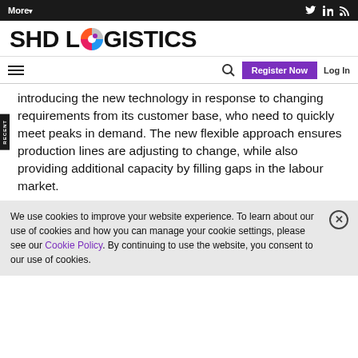More▾  [Twitter] [LinkedIn] [RSS]
[Figure (logo): SHD LOGISTICS logo with colorful circle icon replacing the O in LOGISTICS]
≡  🔍  Register Now  Log In
introducing the new technology in response to changing requirements from its customer base, who need to quickly meet peaks in demand. The new flexible approach ensures production lines are adjusting to change, while also providing additional capacity by filling gaps in the labour market.
We use cookies to improve your website experience. To learn about our use of cookies and how you can manage your cookie settings, please see our Cookie Policy. By continuing to use the website, you consent to our use of cookies.